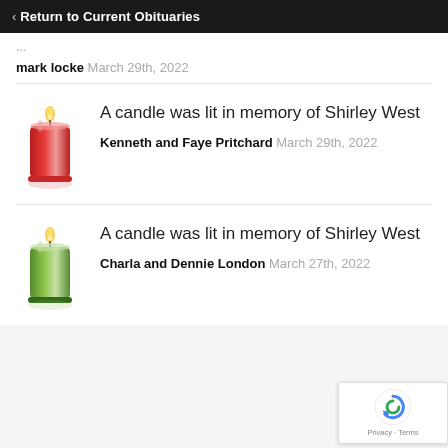‹ Return to Current Obituaries
...
mark locke March 29th, 2022
[Figure (illustration): Red pillar candle with yellow flame and reflection]
A candle was lit in memory of Shirley West
Kenneth and Faye Pritchard March 29th, 2022
[Figure (illustration): Green pillar candle with yellow flame and reflection]
A candle was lit in memory of Shirley West
Charla and Dennie London March 27th, 2022